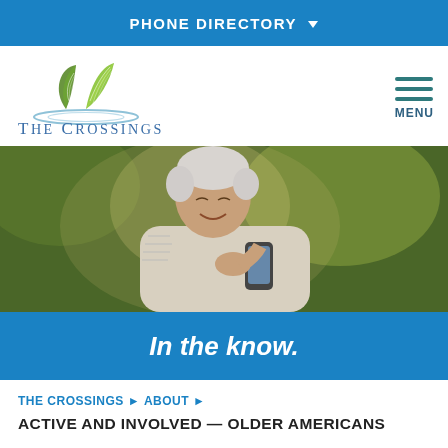PHONE DIRECTORY ▾
[Figure (logo): The Crossings logo with two green leaves above a blue oval reflection, with text THE CROSSINGS below]
[Figure (photo): Older woman with short white hair smiling while looking at a smartphone, outdoors with green foliage in the background]
In the know.
THE CROSSINGS ▶ ABOUT ▶
ACTIVE AND INVOLVED — OLDER AMERICANS